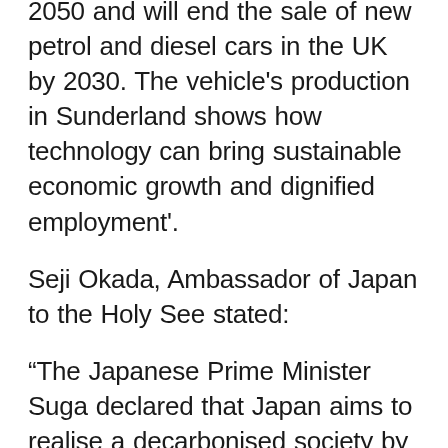2050 and will end the sale of new petrol and diesel cars in the UK by 2030. The vehicle's production in Sunderland shows how technology can bring sustainable economic growth and dignified employment'.
Seji Okada, Ambassador of Japan to the Holy See stated:
“The Japanese Prime Minister Suga declared that Japan aims to realise a decarbonised society by reducing greenhouse gas emission to zero as a whole by 2050, and that the Government of Japan will work for the utilisation of decarbonised power sources, such as renewable energy. But, he added, “global decarbonisation cannot be